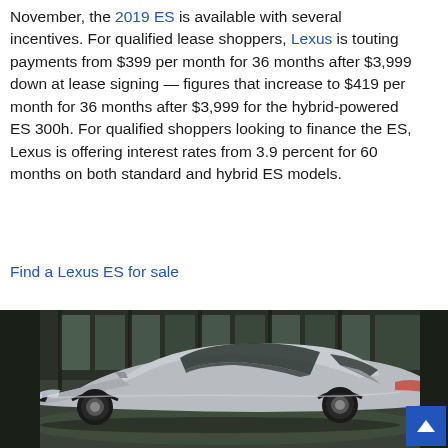November, the 2019 ES is available with several incentives. For qualified lease shoppers, Lexus is touting payments from $399 per month for 36 months after $3,999 down at lease signing — figures that increase to $419 per month for 36 months after $3,999 for the hybrid-powered ES 300h. For qualified shoppers looking to finance the ES, Lexus is offering interest rates from 3.9 percent for 60 months on both standard and hybrid ES models.
Find a Lexus ES for sale
[Figure (photo): Silver Nissan sedan (appears to be an Altima or similar) parked in a large industrial building or garage with green-tinted floor reflections and large windows in the background.]